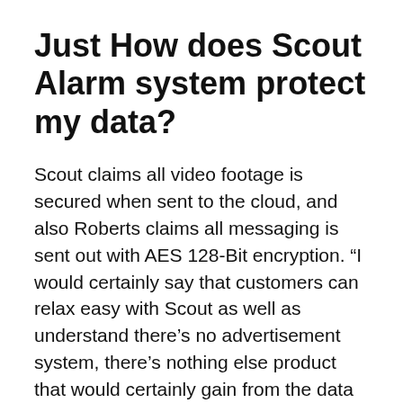Just How does Scout Alarm system protect my data?
Scout claims all video footage is secured when sent to the cloud, and also Roberts claims all messaging is sent out with AES 128-Bit encryption. “I would certainly say that customers can relax easy with Scout as well as understand there’s no advertisement system, there’s nothing else product that would certainly gain from the data of what’s going on inside your home, as well as we’re really delicate about that,” stated Roberts. However since Scout is so conveniently integrated with other tools, it’s still beneficial to read the personal privacy plan and also